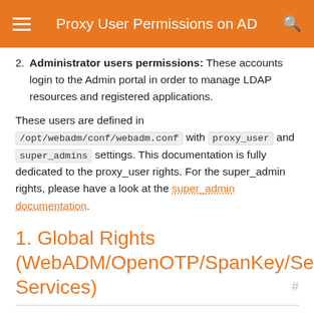Proxy User Permissions on AD
2. Administrator users permissions: These accounts login to the Admin portal in order to manage LDAP resources and registered applications.
These users are defined in /opt/webadm/conf/webadm.conf with proxy_user and super_admins settings. This documentation is fully dedicated to the proxy_user rights. For the super_admin rights, please have a look at the super_admin documentation.
1. Global Rights (WebADM/OpenOTP/SpanKey/Self-Services)
The proxy user needs to perform a wide LDAP search and reads. It